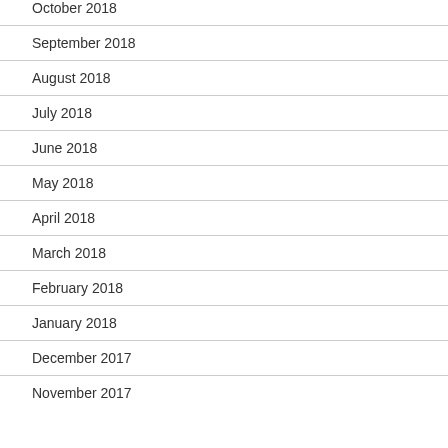October 2018
September 2018
August 2018
July 2018
June 2018
May 2018
April 2018
March 2018
February 2018
January 2018
December 2017
November 2017